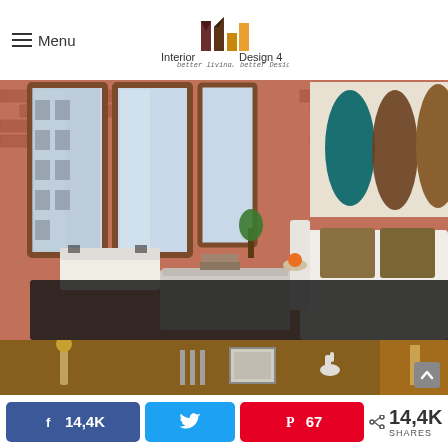Menu | Interior Design 4 — better living, better Designing
[Figure (photo): Modern loft interior with exposed brick walls, tall industrial windows, white sectional sofa with brown pillows, dark shag rug, rectangular coffee table, and large abstract artwork on the wall. A chandelier hangs from the ceiling.]
[Figure (photo): Bottom strip showing decorative interior details including candleholders, a framed picture, and a small white horse figurine on a dark wood surface.]
14,4K  [Facebook share button]  [Twitter button]  67 [Pinterest button]  < 14,4K SHARES